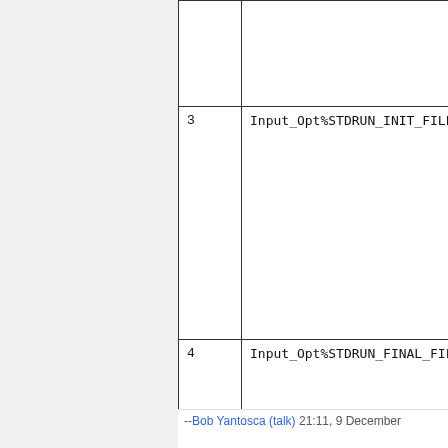| # | Name |
| --- | --- |
|  |  |
| 3 | Input_Opt%STDRUN_INIT_FILE |
| 4 | Input_Opt%STDRUN_FINAL_FILE |
--Bob Yantosca (talk) 21:11, 9 December